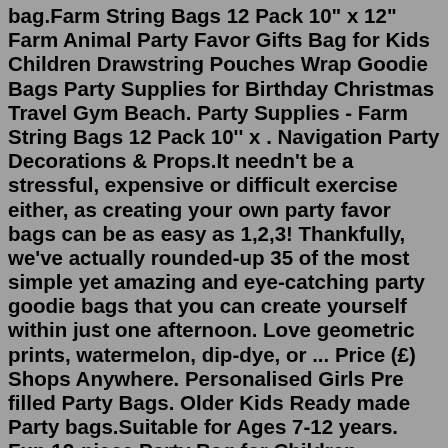bag.Farm String Bags 12 Pack 10" x 12" Farm Animal Party Favor Gifts Bag for Kids Children Drawstring Pouches Wrap Goodie Bags Party Supplies for Birthday Christmas Travel Gym Beach. Party Supplies - Farm String Bags 12 Pack 10'' x . Navigation Party Decorations & Props.It needn't be a stressful, expensive or difficult exercise either, as creating your own party favor bags can be as easy as 1,2,3! Thankfully, we've actually rounded-up 35 of the most simple yet amazing and eye-catching party goodie bags that you can create yourself within just one afternoon. Love geometric prints, watermelon, dip-dye, or ... Price (£) Shops Anywhere. Personalised Girls Pre filled Party Bags. Older Kids Ready made Party bags.Suitable for Ages 7-12 years. Fun 12-piece Party Bag for Children. StyledbyAnne. (9) £4.75.The 17 Best Wedding Gift Bags That Will Make a Big Impression The 25 Best Spring Wedding Favors Guests Will Love 20 Wedding Drink Ideas You Haven't Thought Of—YetBirthday Party Fun : Goodie Bag Ideas. also in the Party Blog: Best kids